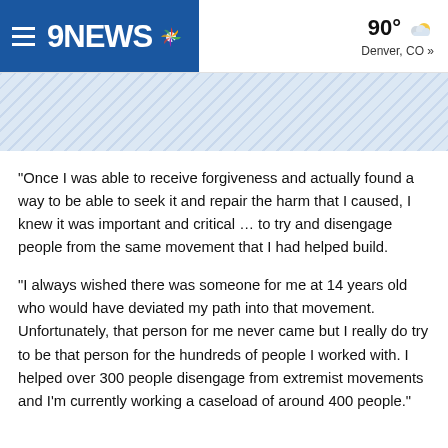9NEWS | 90° Denver, CO »
[Figure (other): Diagonal stripe decorative banner area in light blue]
“Once I was able to receive forgiveness and actually found a way to be able to seek it and repair the harm that I caused, I knew it was important and critical … to try and disengage people from the same movement that I had helped build.
“I always wished there was someone for me at 14 years old who would have deviated my path into that movement. Unfortunately, that person for me never came but I really do try to be that person for the hundreds of people I worked with. I helped over 300 people disengage from extremist movements and I’m currently working a caseload of around 400 people.”